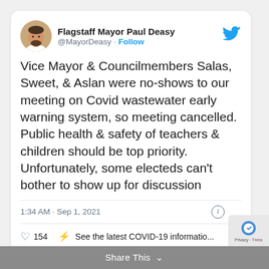[Figure (screenshot): Twitter/X screenshot of a tweet by Flagstaff Mayor Paul Deasy (@MayorDeasy) with avatar photo and blue Twitter bird logo]
Flagstaff Mayor Paul Deasy
@MayorDeasy · Follow
Vice Mayor & Councilmembers Salas, Sweet, & Aslan were no-shows to our meeting on Covid wastewater early warning system, so meeting cancelled. Public health & safety of teachers & children should be top priority. Unfortunately, some electeds can't bother to show up for discussion
1:34 AM · Sep 1, 2021
154   See the latest COVID-19 informatio...
Read 16 replies
Share This